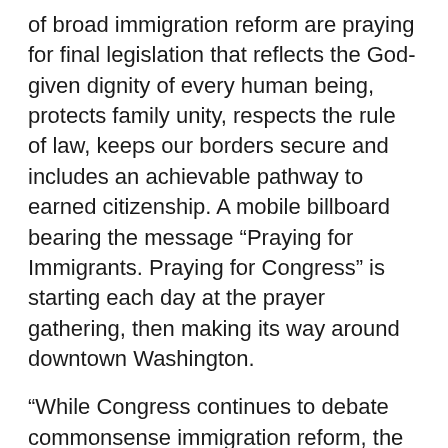of broad immigration reform are praying for final legislation that reflects the God-given dignity of every human being, protects family unity, respects the rule of law, keeps our borders secure and includes an achievable pathway to earned citizenship. A mobile billboard bearing the message “Praying for Immigrants. Praying for Congress” is starting each day at the prayer gathering, then making its way around downtown Washington.
“While Congress continues to debate commonsense immigration reform, the biblical call to ‘welcome the stranger’ hasn’t changed,” said Jim Wallis, President and CEO of Sojourners. “Evangelicals want an immigration system that reflects our biblical values. The legislation in the Senate isn’t perfect, but it represents real progress on an issue that Washington has ignored for too long. Today’s prayer gathering is just an example of the attention evangelical Christians across the country are paying to this issue. We pray that the spirit of bipartisanship